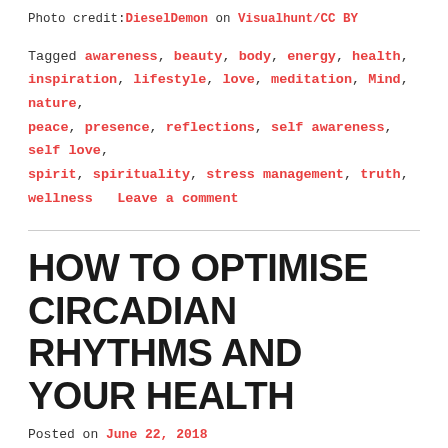Photo credit: DieselDemon on Visualhunt/CC BY
Tagged awareness, beauty, body, energy, health, inspiration, lifestyle, love, meditation, Mind, nature, peace, presence, reflections, self awareness, self love, spirit, spirituality, stress management, truth, wellness   Leave a comment
HOW TO OPTIMISE CIRCADIAN RHYTHMS AND YOUR HEALTH
Posted on June 22, 2018